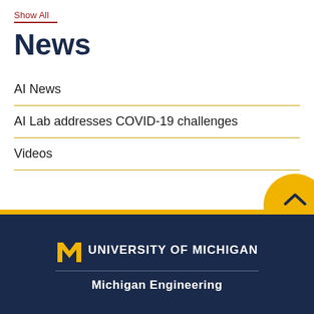Show All
News
AI News
AI Lab addresses COVID-19 challenges
Videos
[Figure (logo): University of Michigan block M logo in gold with text UNIVERSITY OF MICHIGAN]
Michigan Engineering